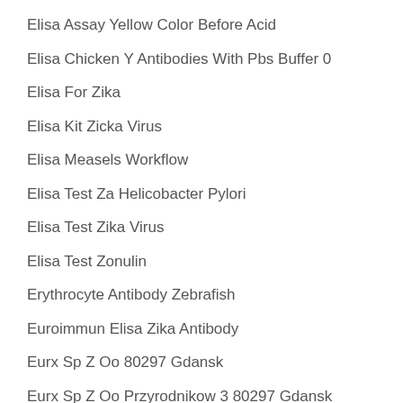Elisa Assay Yellow Color Before Acid
Elisa Chicken Y Antibodies With Pbs Buffer 0
Elisa For Zika
Elisa Kit Zicka Virus
Elisa Measels Workflow
Elisa Test Za Helicobacter Pylori
Elisa Test Zika Virus
Elisa Test Zonulin
Erythrocyte Antibody Zebrafish
Euroimmun Elisa Zika Antibody
Eurx Sp Z Oo 80297 Gdansk
Eurx Sp Z Oo Przyrodnikow 3 80297 Gdansk